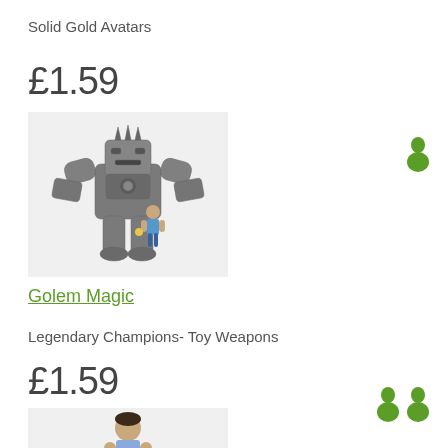Solid Gold Avatars
£1.59
[Figure (illustration): A large gray robot/golem figure standing behind a small blue human avatar character on a light gray background]
Golem Magic
Legendary Champions- Toy Weapons
£1.59
[Figure (illustration): A small human avatar character on a light gray background, partially visible at bottom of page]